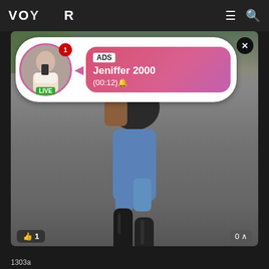VOY R
[Figure (screenshot): Live stream video showing the back of a person walking on a path, wearing blue jeans and black thigh-high boots, carrying a brown bag. Overlaid with an ADS notification for Jeniffer 2000 (00:12) with a live avatar and a close button.]
ADS
Jeniffer 2000
(00:12)🔔
LIVE
👍 1
1303a